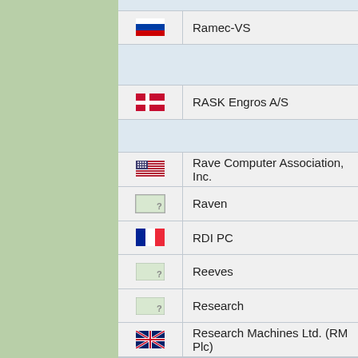| Flag | Name |
| --- | --- |
| [Russia flag] | Ramec-VS |
|  |  |
| [Denmark flag] | RASK Engros A/S |
|  |  |
| [USA flag] | Rave Computer Association, Inc. |
| [Unknown flag] | Raven |
| [France flag] | RDI PC |
| [Unknown flag] | Reeves |
| [Unknown flag] | Research |
| [UK flag] | Research Machines Ltd. (RM Plc) |
|  |  |